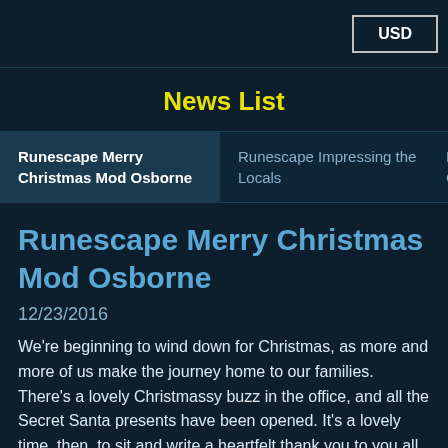USD
News List
Runescape Merry Christmas Mod Osborne
Runescape Impressing the Locals
Runescape Merry Christmas Mod Osborne
12/23/2016
We're beginning to wind down for Christmas, as more and more of us make the journey home to our families. There's a lovely Christmassy buzz in the office, and all the Secret Santa presents have been opened. It's a lovely time, then, to sit and write a heartfelt thank you to you all for the past year.